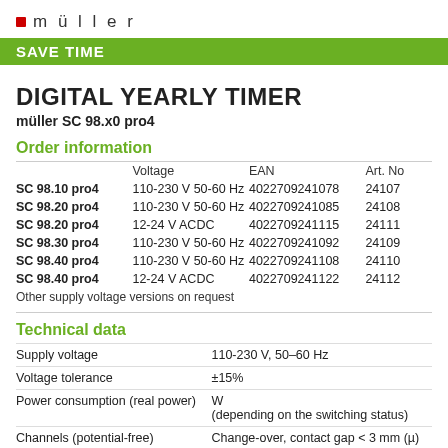müller
SAVE TIME
DIGITAL YEARLY TIMER
müller SC 98.x0 pro4
Order information
|  | Voltage | EAN | Art. No. |
| --- | --- | --- | --- |
| SC 98.10 pro4 | 110-230 V 50-60 Hz | 4022709241078 | 24107... |
| SC 98.20 pro4 | 110-230 V 50-60 Hz | 4022709241085 | 24108... |
| SC 98.20 pro4 | 12-24 V ACDC | 4022709241115 | 24111... |
| SC 98.30 pro4 | 110-230 V 50-60 Hz | 4022709241092 | 24109... |
| SC 98.40 pro4 | 110-230 V 50-60 Hz | 4022709241108 | 24110... |
| SC 98.40 pro4 | 12-24 V ACDC | 4022709241122 | 24112... |
Other supply voltage versions on request
Technical data
| Property | Value |
| --- | --- |
| Supply voltage | 110-230 V, 50–60 Hz |
| Voltage tolerance | ±15% |
| Power consumption (real power) | W
(depending on the switching status) |
| Channels (potential-free) | Change-over, contact gap < 3 mm (µ) |
| Contact material | A, G, C... |